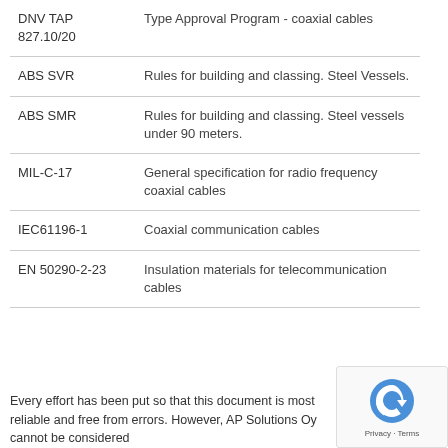| Standard | Description |
| --- | --- |
| DNV TAP 827.10/20 | Type Approval Program - coaxial cables |
| ABS SVR | Rules for building and classing. Steel Vessels. |
| ABS SMR | Rules for building and classing. Steel vessels under 90 meters. |
| MIL-C-17 | General specification for radio frequency coaxial cables |
| IEC61196-1 | Coaxial communication cables |
| EN 50290-2-23 | Insulation materials for telecommunication cables |
Every effort has been put so that this document is most reliable and free from errors. However, AP Solutions Oy cannot be considered